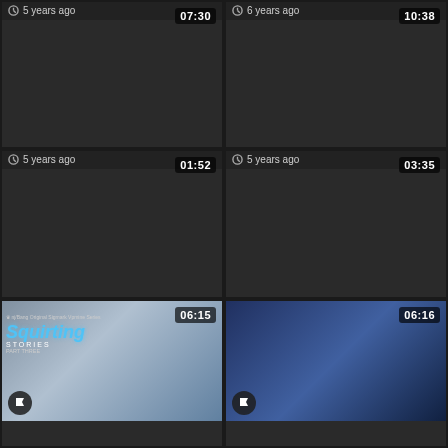[Figure (screenshot): Video thumbnail 1 with duration 07:30]
5 years ago
[Figure (screenshot): Video thumbnail 2 with duration 10:38]
6 years ago
[Figure (screenshot): Video thumbnail 3 with duration 01:52]
5 years ago
[Figure (screenshot): Video thumbnail 4 with duration 03:35]
5 years ago
[Figure (screenshot): Squirting Stories Part Three video thumbnail with duration 06:15]
[Figure (screenshot): Video thumbnail 6 with duration 06:16]